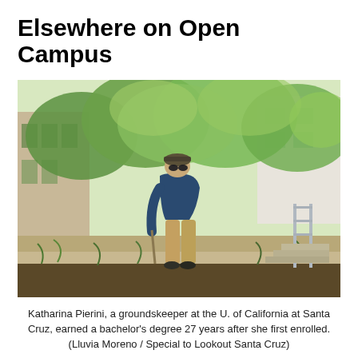Elsewhere on Open Campus
[Figure (photo): Katharina Pierini, a groundskeeper, bending over to tend to plants in a garden bed on the UC Santa Cruz campus, with green trees, brick building, and metal railing stairs visible in the background.]
Katharina Pierini, a groundskeeper at the U. of California at Santa Cruz, earned a bachelor's degree 27 years after she first enrolled. (Lluvia Moreno / Special to Lookout Santa Cruz)